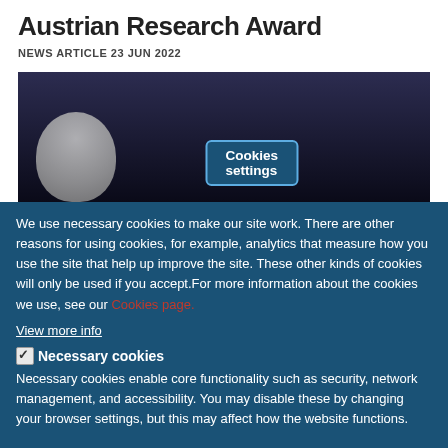Austrian Research Award
NEWS ARTICLE  23 JUN 2022
[Figure (photo): A person with grey/white hair at a dark-curtained background with a screen visible. A 'Cookies settings' button overlays the image.]
We use necessary cookies to make our site work. There are other reasons for using cookies, for example, analytics that measure how you use the site that help up improve the site. These other kinds of cookies will only be used if you accept.For more information about the cookies we use, see our Cookies page.
View more info
✅ Necessary cookies
Necessary cookies enable core functionality such as security, network management, and accessibility. You may disable these by changing your browser settings, but this may affect how the website functions.